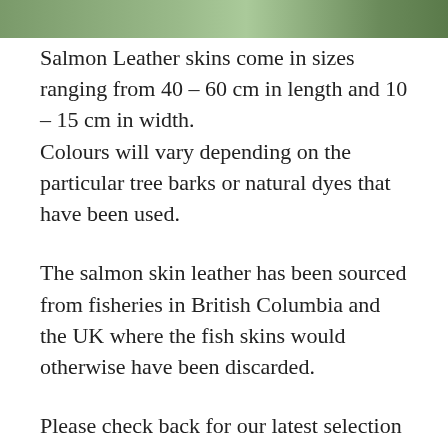[Figure (photo): Partial photo strip at top of page showing outdoor/nature scene with green tones]
Salmon Leather skins come in sizes ranging from 40 – 60 cm in length and 10 – 15 cm in width.
Colours will vary depending on the particular tree barks or natural dyes that have been used.
The salmon skin leather has been sourced from fisheries in British Columbia and the UK where the fish skins would otherwise have been discarded.
Please check back for our latest selection of naturally tanned and dyed salmon skin leathers.